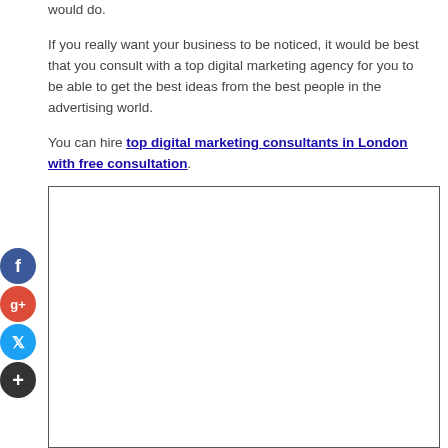would do.
If you really want your business to be noticed, it would be best that you consult with a top digital marketing agency for you to be able to get the best ideas from the best people in the advertising world.
You can hire top digital marketing consultants in London with free consultation.
[Figure (other): Empty bordered rectangle placeholder image area]